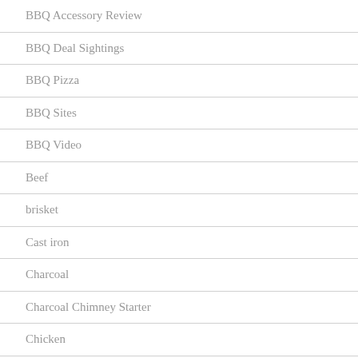BBQ Accessory Review
BBQ Deal Sightings
BBQ Pizza
BBQ Sites
BBQ Video
Beef
brisket
Cast iron
Charcoal
Charcoal Chimney Starter
Chicken
Corned Beef